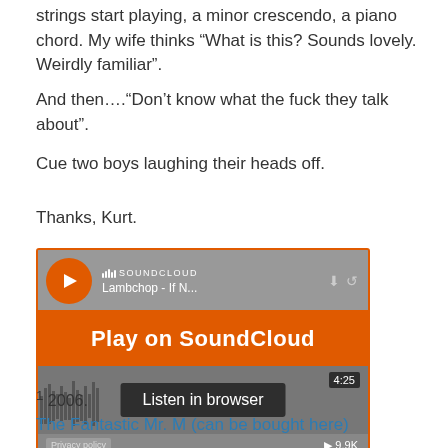strings start playing, a minor crescendo, a piano chord. My wife thinks “What is this? Sounds lovely. Weirdly familiar”.
And then….“Don’t know what the fuck they talk about”.
Cue two boys laughing their heads off.
Thanks, Kurt.
[Figure (screenshot): SoundCloud embedded player for 'Lambchop - If N...' with orange Play on SoundCloud button, waveform, Listen in browser overlay, 4:25 duration, 9.9K plays, Privacy policy link.]
1 2006.
The Fantastic Mr. M (can be bought here)